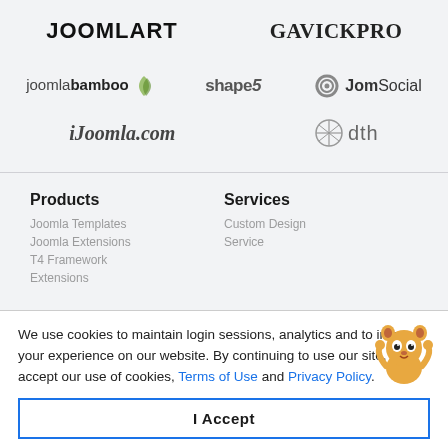[Figure (logo): JOOMLART logo - bold black uppercase sans-serif text]
[Figure (logo): GAVICKPRO logo - bold black uppercase serif text]
[Figure (logo): joomlabamboo logo with leaf icon - mixed weight lowercase text]
[Figure (logo): shape5 logo - bold gray sans-serif text]
[Figure (logo): JomSocial logo with spiral icon]
[Figure (logo): iJoomla.com logo - bold italic gray text]
[Figure (logo): dth logo with circular striped icon]
Products
Services
We use cookies to maintain login sessions, analytics and to improve your experience on our website. By continuing to use our site, you accept our use of cookies, Terms of Use and Privacy Policy.
I Accept